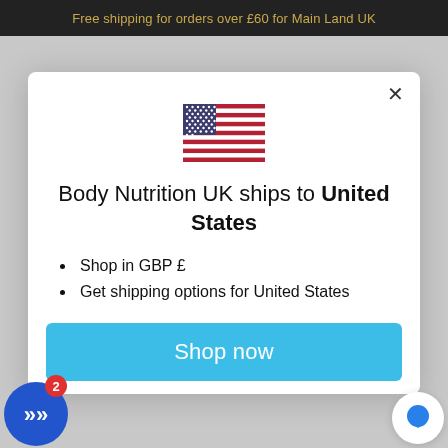Free shipping for orders over £60 for Main Land UK
[Figure (illustration): US flag emoji/icon centered in modal]
Body Nutrition UK ships to United States
Shop in GBP £
Get shipping options for United States
Shop now
Change shipping country